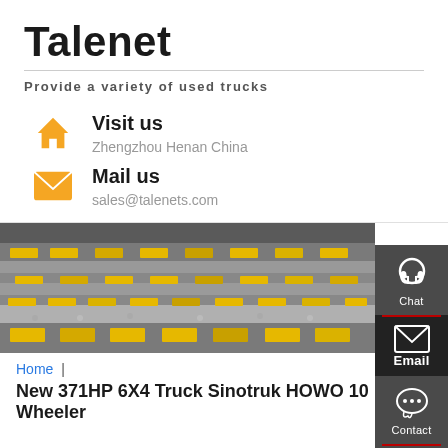Talenet
Provide a variety of used trucks
Visit us
Zhengzhou Henan China
Mail us
sales@talenets.com
[Figure (photo): Aerial view of a truck logistics yard with multiple lanes and yellow trucks parked in rows]
Home | New 371HP 6X4 Truck Sinotruk HOWO 10 Wheeler